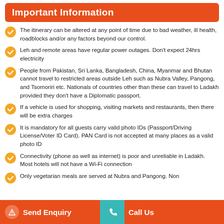Important Information
The itinerary can be altered at any point of time due to bad weather, ill health, roadblocks and/or any factors beyond our control.
Leh and remote areas have regular power outages. Don't expect 24hrs electricity
People from Pakistan, Sri Lanka, Bangladesh, China, Myanmar and Bhutan cannot travel to restricted areas outside Leh such as Nubra Valley, Pangong, and Tsomoriri etc. Nationals of countries other than these can travel to Ladakh provided they don't have a Diplomatic passport.
If a vehicle is used for shopping, visiting markets and restaurants, then there will be extra charges
It is mandatory for all guests carry valid photo IDs (Passport/Driving License/Voter ID Card). PAN Card is not accepted at many places as a valid photo ID
Connectivity (phone as well as internet) is poor and unreliable in Ladakh. Most hotels will not have a Wi-Fi connection
Only vegetarian meals are served at Nubra and Pangong. Non
Send Enquiry
Call Us